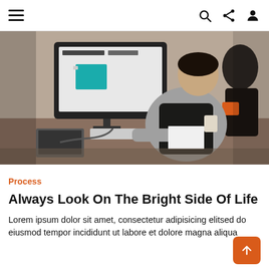Navigation bar with hamburger menu, search, share, and user icons
[Figure (photo): Person sitting at an iMac desktop computer in an office/co-working space, working on a design application. Other people visible in the background.]
Process
Always Look On The Bright Side Of Life
Lorem ipsum dolor sit amet, consectetur adipisicing elitsed do eiusmod tempor incididunt ut labore et dolore magna aliqua